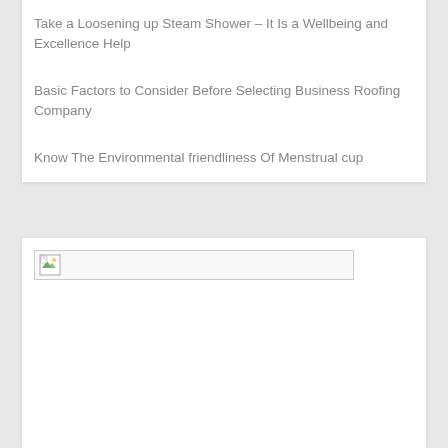Take a Loosening up Steam Shower – It Is a Wellbeing and Excellence Help
Basic Factors to Consider Before Selecting Business Roofing Company
Know The Environmental friendliness Of Menstrual cup
[Figure (photo): Broken image placeholder in a white card section below the list]